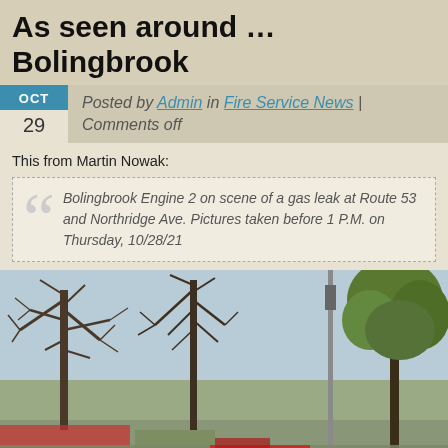As seen around … Bolingbrook
Posted by Admin in Fire Service News | Comments off
This from Martin Nowak:
Bolingbrook Engine 2 on scene of a gas leak at Route 53 and Northridge Ave. Pictures taken before 1 P.M. on Thursday, 10/28/21
[Figure (photo): Outdoor street scene with bare and leafy trees, a traffic light pole, and what appears to be a commercial area in the background. A fire engine or emergency vehicle is partially visible at the bottom of the image.]